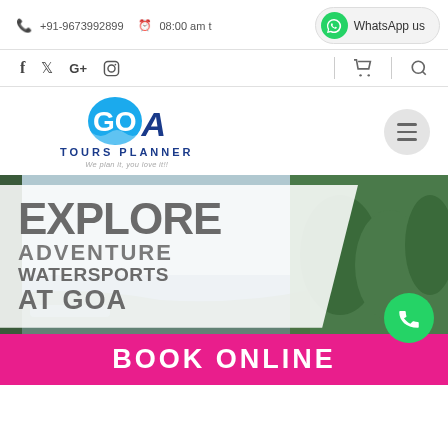+91-9673992899   08:00 am t   WhatsApp us
[Figure (logo): Social media icons: Facebook, Twitter, Google+, Instagram, cart, search]
[Figure (logo): Goa Tours Planner logo with tagline 'We plan it, you love it!!', hamburger menu button]
[Figure (photo): Hero banner with scenic water and greenery background, white overlay with text: EXPLORE ADVENTURE WATERSPORTS AT GOA]
EXPLORE ADVENTURE WATERSPORTS AT GOA
BOOK ONLINE